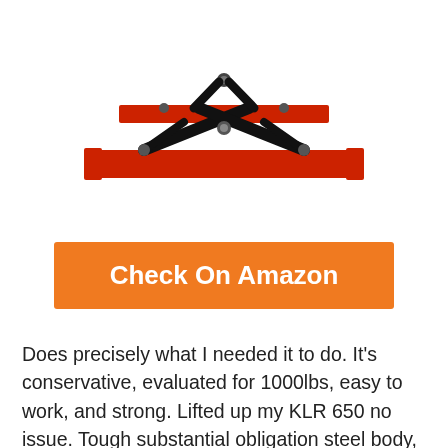[Figure (photo): Red and black scissor motorcycle lift jack stand product photo on white background]
Check On Amazon
Does precisely what I needed it to do. It's conservative, evaluated for 1000lbs, easy to work, and strong. Lifted up my KLR 650 no issue. Tough substantial obligation steel body, simple cleanup paint (oil-, oil, and soil safe). Abstain from utilizing an effect torque; shameful use may make harm nut, lift a